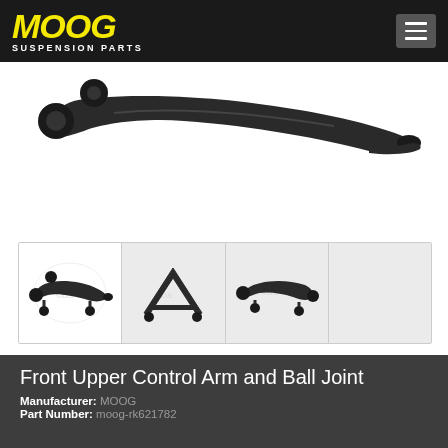[Figure (logo): MOOG Suspension Parts logo on dark header bar]
[Figure (photo): Main product image: front upper control arm and ball joint part, dark metallic, viewed from above on white background]
[Figure (photo): Thumbnail strip showing three views of the front upper control arm and ball joint product]
Front Upper Control Arm and Ball Joint
Manufacturer: MOOG
Part Number: moog-rk621782